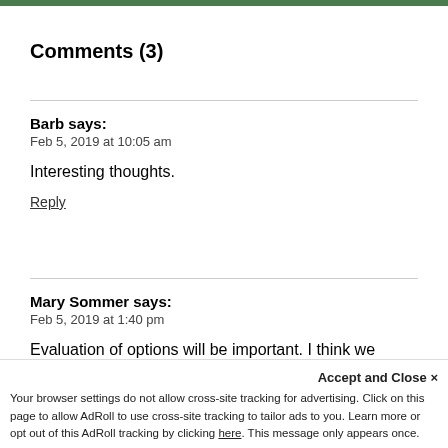Comments (3)
Barb says:
Feb 5, 2019 at 10:05 am
Interesting thoughts.
Reply
Mary Sommer says:
Feb 5, 2019 at 1:40 pm
Evaluation of options will be important. I think we need more interns!
Accept and Close ✕
Your browser settings do not allow cross-site tracking for advertising. Click on this page to allow AdRoll to use cross-site tracking to tailor ads to you. Learn more or opt out of this AdRoll tracking by clicking here. This message only appears once.